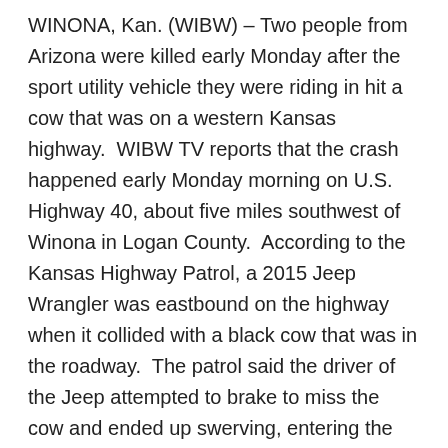WINONA, Kan. (WIBW) – Two people from Arizona were killed early Monday after the sport utility vehicle they were riding in hit a cow that was on a western Kansas highway.  WIBW TV reports that the crash happened early Monday morning on U.S. Highway 40, about five miles southwest of Winona in Logan County.  According to the Kansas Highway Patrol, a 2015 Jeep Wrangler was eastbound on the highway when it collided with a black cow that was in the roadway.  The patrol said the driver of the Jeep attempted to brake to miss the cow and ended up swerving, entering the north ditch.  The Jeep then rolled an undetermined number of times before coming to rest on its passenger side facing south.  Both occupants in the Jeep were pronounced dead at the scene.  The patrol identified the fatality victims as 45-year-old Raymond H. Kennedy, of Glendale, Arizona, and 54-year-old Brenda G. Carrasco, of Peoria, Arizona.  Both occupants of the Jeep were wearing their seat belts